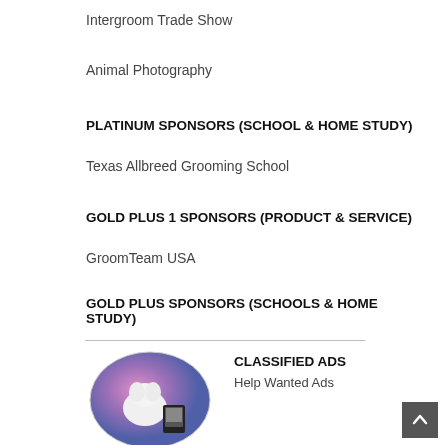Intergroom Trade Show
Animal Photography
PLATINUM SPONSORS (SCHOOL & HOME STUDY)
Texas Allbreed Grooming School
GOLD PLUS 1 SPONSORS (PRODUCT & SERVICE)
GroomTeam USA
GOLD PLUS SPONSORS (SCHOOLS & HOME STUDY)
Cindys Canine Companion Grooming Class (PA)
CLASSIFIED ADS
Help Wanted Ads
[Figure (photo): Circular photo showing a groomed dog or animal with pink/blue background and a small image card]